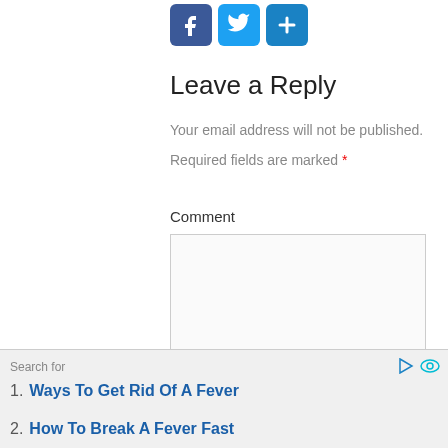[Figure (other): Social share buttons: Facebook (blue), Twitter (light blue), Share/plus (blue)]
Leave a Reply
Your email address will not be published.
Required fields are marked *
Comment
[Figure (other): Comment text area input box]
Search for
1. Ways To Get Rid Of A Fever
2. How To Break A Fever Fast